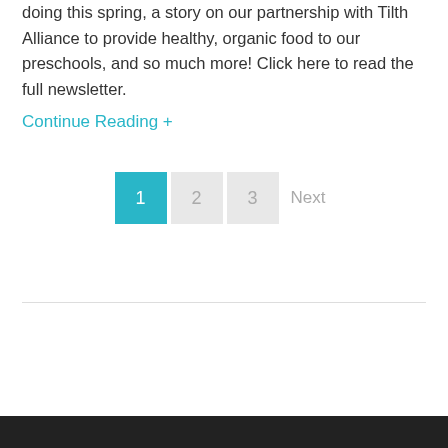doing this spring, a story on our partnership with Tilth Alliance to provide healthy, organic food to our preschools, and so much more! Click here to read the full newsletter.
Continue Reading +
1  2  3  Next